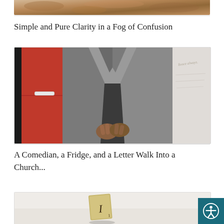[Figure (photo): Top cropped photo showing a textured brown/tan rocky or sandy background, partially visible at the top of the page]
Simple and Pure Clarity in a Fog of Confusion
[Figure (photo): A man in a gray blazer jacket with hands clasped in front of his chest, standing in front of a red vintage refrigerator on the left and a handwritten note on the right]
A Comedian, a Fridge, and a Letter Walk Into a Church...
[Figure (photo): Bottom cropped photo showing a Scrabble-like letter tile with the letter 'I' on a light beige/gray background]
[Figure (logo): Accessibility icon button (person in circle) in teal/dark cyan square, bottom right corner]